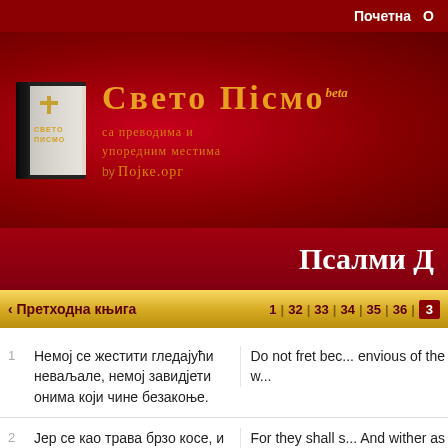Почетна
[Figure (logo): Свето Писмо logo with book icon and Serbian/Cyrillic text reading 'Свето Писмо beta — са преводима и упоредним местима by Појке.орг']
Псалми Д...
< Претходна књига  1 | 32 | 33 | 34 | 35 | 36 | 3...
1  Немој се жестити гледајући неваљале, немој завидјети онима који чине безакоње.  |  Do not fret beca... envious of the w...
2  Јер се као трава брзо косе, и као зелено биље вену.  |  For they shall s... And wither as t...
3  Уздај се у Господа и твори добро; живи на  |  Trust in the LO...